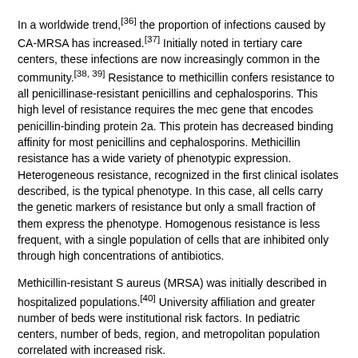In a worldwide trend,[36] the proportion of infections caused by CA-MRSA has increased.[37] Initially noted in tertiary care centers, these infections are now increasingly common in the community.[38, 39] Resistance to methicillin confers resistance to all penicillinase-resistant penicillins and cephalosporins. This high level of resistance requires the mec gene that encodes penicillin-binding protein 2a. This protein has decreased binding affinity for most penicillins and cephalosporins. Methicillin resistance has a wide variety of phenotypic expression. Heterogeneous resistance, recognized in the first clinical isolates described, is the typical phenotype. In this case, all cells carry the genetic markers of resistance but only a small fraction of them express the phenotype. Homogenous resistance is less frequent, with a single population of cells that are inhibited only through high concentrations of antibiotics.
Methicillin-resistant S aureus (MRSA) was initially described in hospitalized populations.[40] University affiliation and greater number of beds were institutional risk factors. In pediatric centers, number of beds, region, and metropolitan population correlated with increased risk.
Since 1996, more patients with CA-MRSA have been described. The strains isolated from these patients are different from typical nosocomial organisms in their susceptibility patterns and in their PFGE characteristics. A clonal population, designated USA-300, has become the predominant circulating organism in most communities.[41, 42] Many of these strains produce the Panton-Valentine leukocidin, which is associated with a tendency to produce abscesses, invasiveness, thrombogenesis, and morbidity and mortality.[43, 44, 45, 46]
A 2012 report corroborates earlier reports which describe an increased